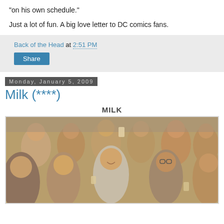"on his own schedule."
Just a lot of fun. A big love letter to DC comics fans.
Back of the Head at 2:51 PM
Share
Monday, January 5, 2009
Milk (****)
MILK
[Figure (photo): Scene from the film Milk showing a crowd of people celebrating, raising cups, smiling. The central figure appears to be Sean Penn as Harvey Milk.]